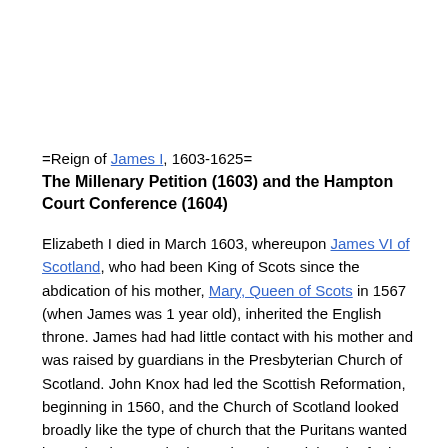=Reign of James I, 1603-1625=
The Millenary Petition (1603) and the Hampton Court Conference (1604)
Elizabeth I died in March 1603, whereupon James VI of Scotland, who had been King of Scots since the abdication of his mother, Mary, Queen of Scots in 1567 (when James was 1 year old), inherited the English throne. James had had little contact with his mother and was raised by guardians in the Presbyterian Church of Scotland. John Knox had led the Scottish Reformation, beginning in 1560, and the Church of Scotland looked broadly like the type of church that the Puritans wanted in England. As such, the Puritans hoped that the further reforms which had been blocked under Elizabeth could now be carried out under the new king. They were somewhat worried because in his 1599 book "Basilikon Doron", the